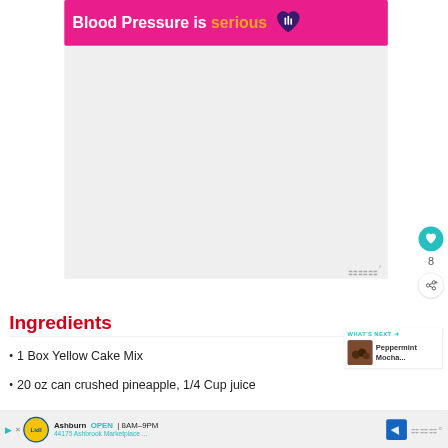[Figure (other): Ad banner with pink background reading 'Blood Pressure is serious' with heart logo icon]
[Figure (other): Content area with gray/white background (video or image placeholder)]
[Figure (other): Social media sidebar icons: heart button (teal), number 8, share button]
Ingredients
1 Box Yellow Cake Mix
20 oz can crushed pineapple, 1/4 Cup juice
[Figure (other): What's Next thumbnail showing Peppermint Mocha... with food image]
[Figure (other): Bottom advertisement banner: Lidl store in Ashburn, OPEN 8AM-9PM, 44175 Ashbrook Marketplace ...]